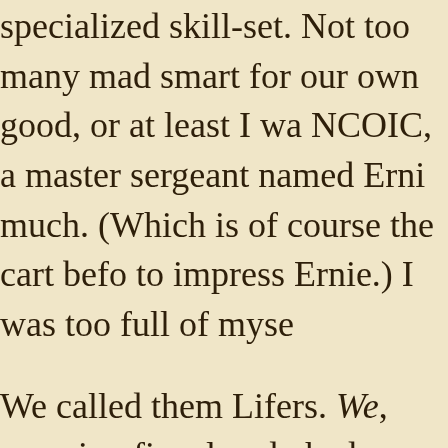specialized skill-set. Not too many mad smart for our own good, or at least I wa NCOIC, a master sergeant named Erni much. (Which is of course the cart befo to impress Ernie.) I was too full of myse
We called them Lifers. We, meaning firs already had a couple of enlistments und wouldn't have made senior NCO rank. and to us, anybody who'd re-upped an an also-ran or a has-been. It's not like y servers and goldbricks, they come with work, and once in a while you get sadd mostly, that's the exception. NCO's d